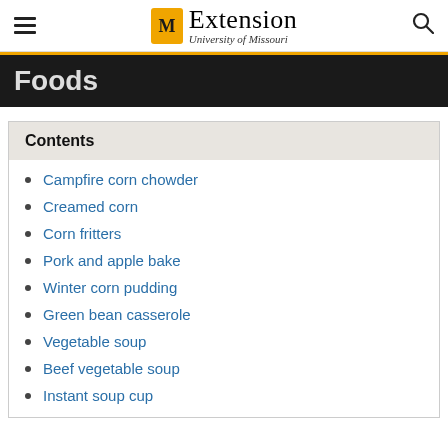Extension University of Missouri
Foods
Contents
Campfire corn chowder
Creamed corn
Corn fritters
Pork and apple bake
Winter corn pudding
Green bean casserole
Vegetable soup
Beef vegetable soup
Instant soup cup